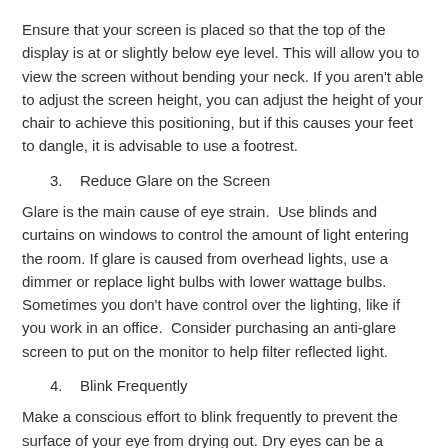Ensure that your screen is placed so that the top of the display is at or slightly below eye level. This will allow you to view the screen without bending your neck. If you aren't able to adjust the screen height, you can adjust the height of your chair to achieve this positioning, but if this causes your feet to dangle, it is advisable to use a footrest.
3.    Reduce Glare on the Screen
Glare is the main cause of eye strain.  Use blinds and curtains on windows to control the amount of light entering the room. If glare is caused from overhead lights, use a dimmer or replace light bulbs with lower wattage bulbs. Sometimes you don't have control over the lighting, like if you work in an office.  Consider purchasing an anti -glare screen to put on the monitor to help filter reflected light.
4.    Blink Frequently
Make a conscious effort to blink frequently to prevent the surface of your eye from drying out. Dry eyes can be a problem with